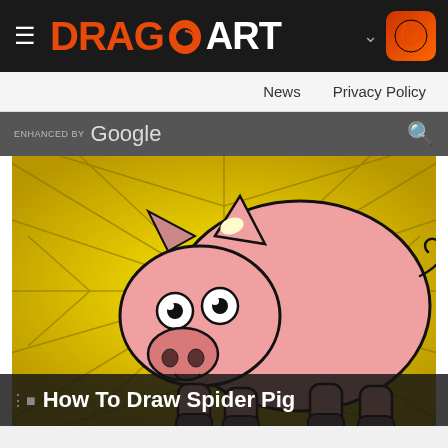≡ DRAGOART
News   Privacy Policy
ENHANCED BY Google
[Figure (illustration): Cartoon illustration of Spider Pig character — a pink pig drawn in comic style standing against a yellow cracked web/spiderweb background. The pig has wide white eyes, a round snout with nostrils, pointed ears, a curly tail, and dark hooves. The background is golden yellow with dark web-like crack lines radiating outward.]
How To Draw Spider Pig